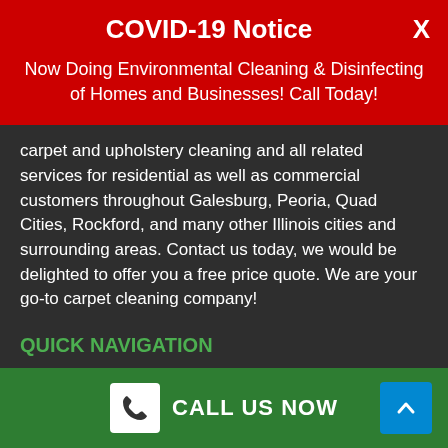COVID-19 Notice
Now Doing Environmental Cleaning & Disinfecting of Homes and Businesses! Call Today!
carpet and upholstery cleaning and all related services for residential as well as commercial customers throughout Galesburg, Peoria, Quad Cities, Rockford, and many other Illinois cities and surrounding areas. Contact us today, we would be delighted to offer you a free price quote. We are your go-to carpet cleaning company!
QUICK NAVIGATION
Home
CALL US NOW